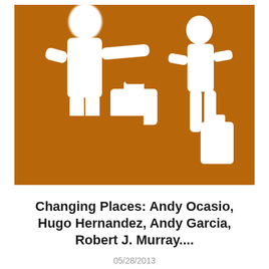[Figure (illustration): An orange/amber square icon depicting a stylized scene of one person helping another person (possibly with luggage or wheelchair), rendered as white silhouette figures on an orange background. The image is slightly blurred.]
Changing Places: Andy Ocasio, Hugo Hernandez, Andy Garcia, Robert J. Murray....
05/28/2013